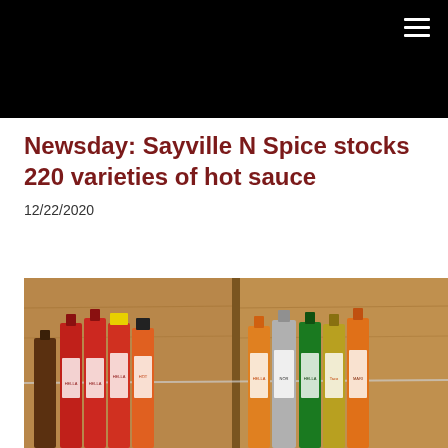Newsday: Sayville N Spice stocks 220 varieties of hot sauce
12/22/2020
[Figure (photo): Shelves stocked with multiple varieties of hot sauce bottles in various colors (red, orange, yellow, green, gold), arranged on wooden shelves with a wire divider.]